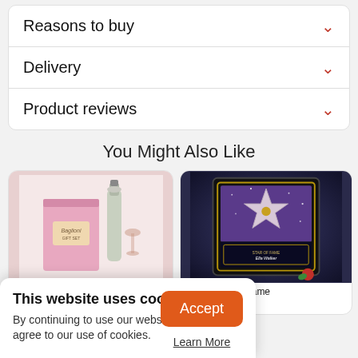Reasons to buy
Delivery
Product reviews
You Might Also Like
[Figure (photo): Pink Baglioni gift set with champagne bottle and glasses]
[Figure (photo): Personalised Star of Fame framed plaque with star design and red rose]
and Chocolate Gift Set
alised Star of Fame
This website uses cookies. By continuing to use our website, you agree to our use of cookies.